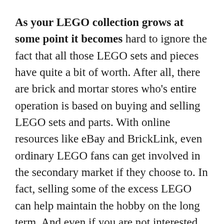As your LEGO collection grows at some point it becomes hard to ignore the fact that all those LEGO sets and pieces have quite a bit of worth. After all, there are brick and mortar stores who's entire operation is based on buying and selling LEGO sets and parts. With online resources like eBay and BrickLink, even ordinary LEGO fans can get involved in the secondary market if they choose to. In fact, selling some of the excess LEGO can help maintain the hobby on the long term. And even if you are not interested in selling any of your LEGO collection, you might still be curious to know its value. This can also be helpful